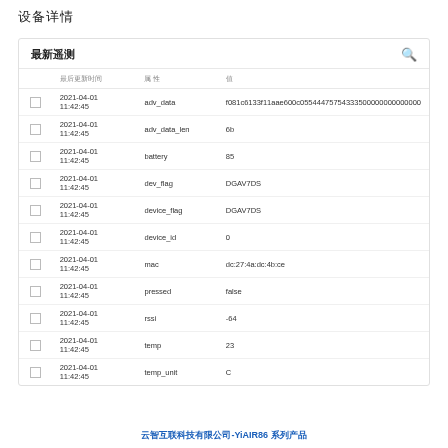设备详情
|  | 最后更新时间 | 属性 | 值 |
| --- | --- | --- | --- |
|  | 2021-04-01 11:42:45 | adv_data | f081c6133f11aae600c05544475754333500000000000000 |
|  | 2021-04-01 11:42:45 | adv_data_len | 6b |
|  | 2021-04-01 11:42:45 | battery | 85 |
|  | 2021-04-01 11:42:45 | dev_flag | DGAV7DS |
|  | 2021-04-01 11:42:45 | device_flag | DGAV7DS |
|  | 2021-04-01 11:42:45 | device_id | 0 |
|  | 2021-04-01 11:42:45 | mac | dc:27:4a:dc:4b:ce |
|  | 2021-04-01 11:42:45 | pressed | false |
|  | 2021-04-01 11:42:45 | rssi | -64 |
|  | 2021-04-01 11:42:45 | temp | 23 |
|  | 2021-04-01 11:42:45 | temp_unit | C |
云智互联科技有限公司-YiAIR86 系列产品